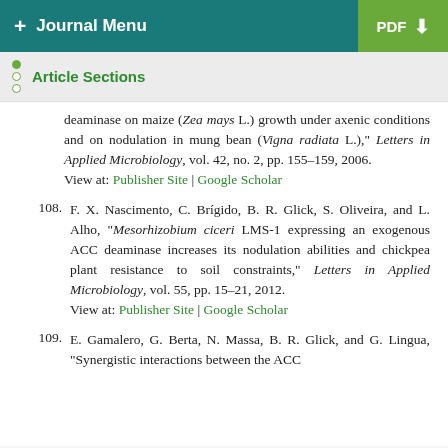+ Journal Menu | PDF
Article Sections
deaminase on maize (Zea mays L.) growth under axenic conditions and on nodulation in mung bean (Vigna radiata L.)," Letters in Applied Microbiology, vol. 42, no. 2, pp. 155–159, 2006.
View at: Publisher Site | Google Scholar
108. F. X. Nascimento, C. Brígido, B. R. Glick, S. Oliveira, and L. Alho, "Mesorhizobium ciceri LMS-1 expressing an exogenous ACC deaminase increases its nodulation abilities and chickpea plant resistance to soil constraints," Letters in Applied Microbiology, vol. 55, pp. 15–21, 2012.
View at: Publisher Site | Google Scholar
109. E. Gamalero, G. Berta, N. Massa, B. R. Glick, and G. Lingua, "Synergistic interactions between the ACC